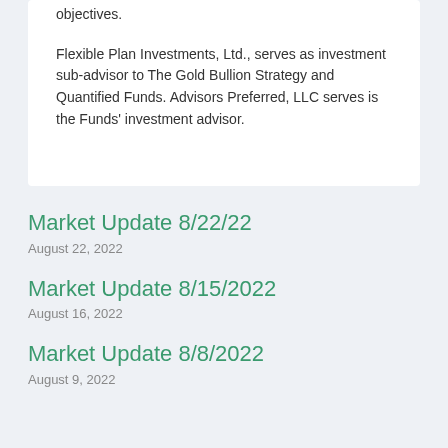objectives.
Flexible Plan Investments, Ltd., serves as investment sub-advisor to The Gold Bullion Strategy and Quantified Funds. Advisors Preferred, LLC serves is the Funds' investment advisor.
Market Update 8/22/22
August 22, 2022
Market Update 8/15/2022
August 16, 2022
Market Update 8/8/2022
August 9, 2022